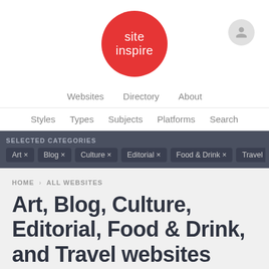[Figure (logo): SiteInspire logo: red circle with white text 'site inspire']
Websites  Directory  About
Styles  Types  Subjects  Platforms  Search
SELECTED CATEGORIES
Art ×
Blog ×
Culture ×
Editorial ×
Food & Drink ×
Travel ×
HOME › ALL WEBSITES
Art, Blog, Culture, Editorial, Food & Drink, and Travel websites
Submit a Website